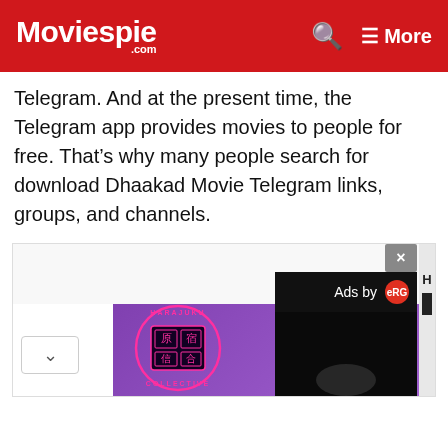Moviespie .com  🔍  ≡ More
Telegram. And at the present time, the Telegram app provides movies to people for free. That's why many people search for download Dhaakad Movie Telegram links, groups, and channels.
[Figure (screenshot): Advertisement container with a Harajuku Collective banner ad partially visible at the bottom, a close button (X) overlay, an 'Ads by eRG' bar, a dark overlay with a partial circle, a collapse chevron button on the left, and a white sidebar with 'H' and black rectangle on the right edge.]